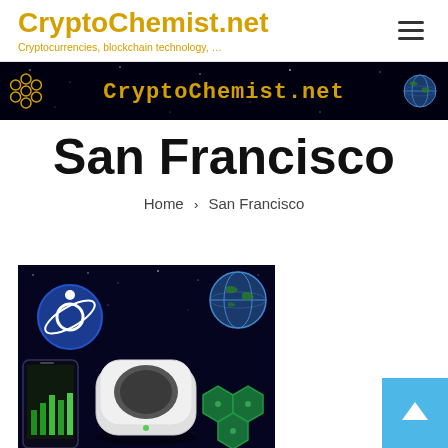CryptoChemist.net
Cryptocurrencies, blockchain technology, …
[Figure (screenshot): CryptoChemist.net banner with dark space background, yellow pixel-style text CryptoChemist.net, hexagon/molecule logo on left, globe on right]
San Francisco
Home › San Francisco
[Figure (illustration): Crypto-themed digital illustration with dark space background: Helium/HNT hotspot miner device (white hexagonal puck), smartphone with green chart, Helium logo (blue circle with orbital icon), green hexagon tiles, Earth globe in background]
[Figure (other): Light blue scroll-to-top button with white upward arrow]